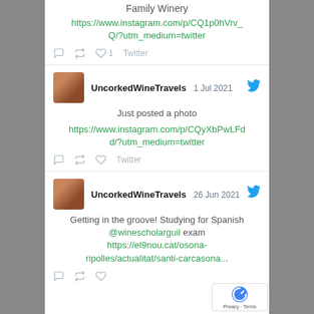Family Winery
https://www.instagram.com/p/CQ1p0hVrv_Q/?utm_medium=twitter
1  Twitter
UncorkedWineTravels 1 Jul 2021
Just posted a photo
https://www.instagram.com/p/CQyXbPwLFdd/?utm_medium=twitter
Twitter
UncorkedWineTravels 26 Jun 2021
Getting in the groove! Studying for Spanish @winescholarguil exam https://el9nou.cat/osona-ripolles/actualitat/santi-carcasona...